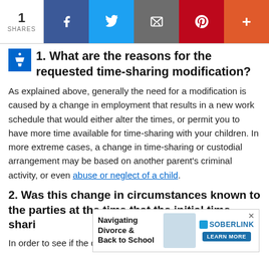[Figure (screenshot): Social sharing bar with share count (1 SHARES) and buttons for Facebook, Twitter, Email, Pinterest, and More (+)]
1. What are the reasons for the requested time-sharing modification?
As explained above, generally the need for a modification is caused by a change in employment that results in a new work schedule that would either alter the times, or permit you to have more time available for time-sharing with your children. In more extreme cases, a change in time-sharing or custodial arrangement may be based on another parent's criminal activity, or even abuse or neglect of a child.
2. Was this change in circumstances known to the parties at the time that the initial time-sharing [agreement was entered into]?
[Figure (screenshot): Advertisement banner: Navigating Divorce & Back to School, SOBERLINK, LEARN MORE button]
In order to see if the change of circumstances would be...